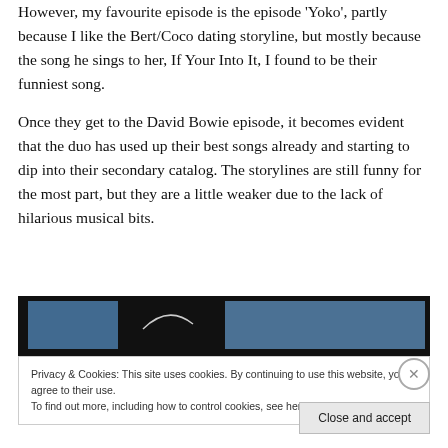However, my favourite episode is the episode 'Yoko', partly because I like the Bert/Coco dating storyline, but mostly because the song he sings to her, If Your Into It, I found to be their funniest song.
Once they get to the David Bowie episode, it becomes evident that the duo has used up their best songs already and starting to dip into their secondary catalog.  The storylines are still funny for the most part, but they are a little weaker due to the lack of hilarious musical bits.
[Figure (screenshot): Partial screenshot of a blog/website image showing a dark background with blue-tinted content areas visible at the top.]
Privacy & Cookies: This site uses cookies. By continuing to use this website, you agree to their use.
To find out more, including how to control cookies, see here: Cookie Policy
Close and accept